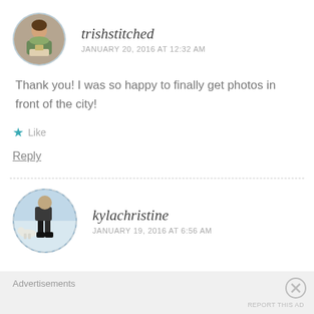[Figure (photo): Circular avatar photo of trishstitched user, showing a person at a sewing machine]
trishstitched
JANUARY 20, 2016 AT 12:32 AM
Thank you! I was so happy to finally get photos in front of the city!
Like
Reply
[Figure (photo): Circular avatar photo of kylachristine user, showing a person with a dog outdoors in snow]
kylachristine
JANUARY 19, 2016 AT 6:56 AM
Advertisements
REPORT THIS AD